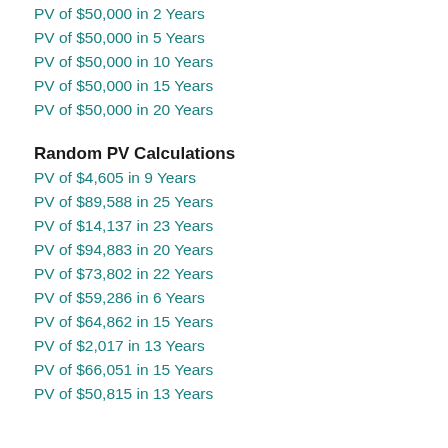PV of $50,000 in 2 Years
PV of $50,000 in 5 Years
PV of $50,000 in 10 Years
PV of $50,000 in 15 Years
PV of $50,000 in 20 Years
Random PV Calculations
PV of $4,605 in 9 Years
PV of $89,588 in 25 Years
PV of $14,137 in 23 Years
PV of $94,883 in 20 Years
PV of $73,802 in 22 Years
PV of $59,286 in 6 Years
PV of $64,862 in 15 Years
PV of $2,017 in 13 Years
PV of $66,051 in 15 Years
PV of $50,815 in 13 Years